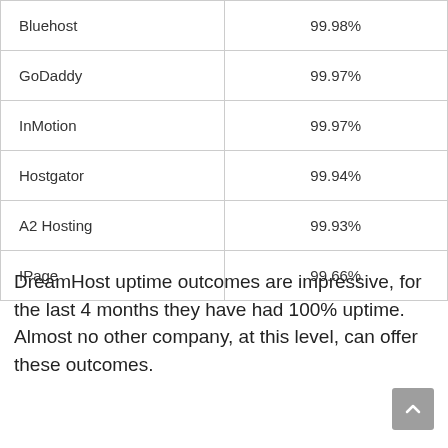| Bluehost | 99.98% |
| GoDaddy | 99.97% |
| InMotion | 99.97% |
| Hostgator | 99.94% |
| A2 Hosting | 99.93% |
| IPage | 99.66% |
DreamHost uptime outcomes are impressive, for the last 4 months they have had 100% uptime. Almost no other company, at this level, can offer these outcomes.